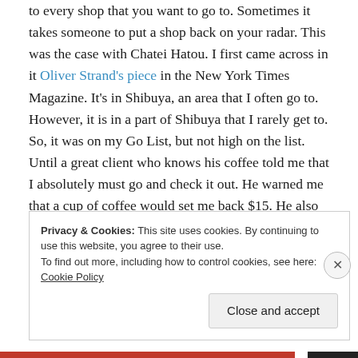to every shop that you want to go to. Sometimes it takes someone to put a shop back on your radar. This was the case with Chatei Hatou. I first came across in it Oliver Strand's piece in the New York Times Magazine. It's in Shibuya, an area that I often go to. However, it is in a part of Shibuya that I rarely get to. So, it was on my Go List, but not high on the list. Until a great client who knows his coffee told me that I absolutely must go and check it out. He warned me that a cup of coffee would set me back $15. He also mentioned that while there were a variety of cups behind the counter, that customers did not select one, but that the master would size me up and choose one for me.
Privacy & Cookies: This site uses cookies. By continuing to use this website, you agree to their use.
To find out more, including how to control cookies, see here: Cookie Policy
Close and accept